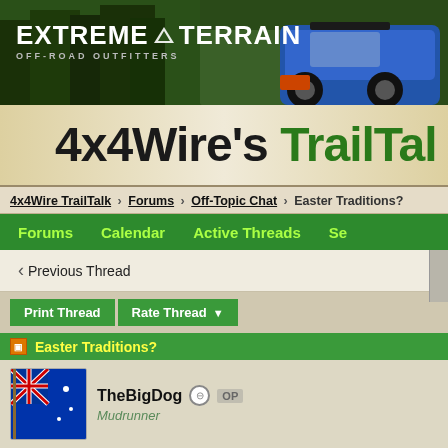[Figure (photo): ExtremeTerrain Off-Road Outfitters banner ad with blue Jeep Wrangler in forest]
4x4Wire's TrailTalk
4x4Wire TrailTalk > Forums > Off-Topic Chat > Easter Traditions?
Forums   Calendar   Active Threads   Se...
◄ Previous Thread
Print Thread   Rate Thread ▼
Easter Traditions?
TheBigDog ⊖ OP
Mudrunner
Anyone get up to anything special over the Easter break? Most people the 4 days off, others spend time with family and friends.